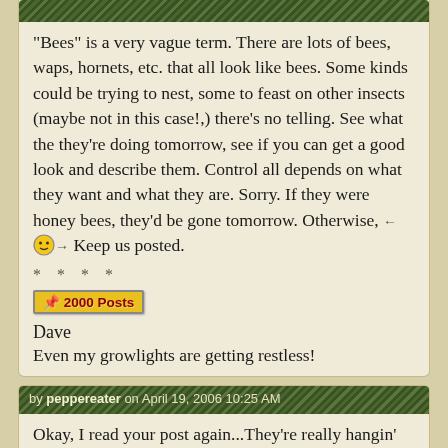"Bees" is a very vague term. There are lots of bees, waps, hornets, etc. that all look like bees. Some kinds could be trying to nest, some to feast on other insects (maybe not in this case!,) there's no telling. See what the they're doing tomorrow, see if you can get a good look and describe them. Control all depends on what they want and what they are. Sorry. If they were honey bees, they'd be gone tomorrow. Otherwise, Keep us posted.
* * * *
[Figure (other): 2000 Posts badge/banner in yellow with red text]
Dave
Even my growlights are getting restless!
by peppereater on April 19, 2006 10:25 AM
Okay, I read your post again...They're really hangin' in, huh? Describe what they look like...Google Yellow Jackets...If